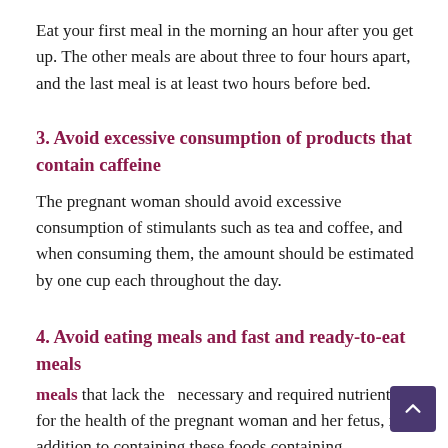Eat your first meal in the morning an hour after you get up. The other meals are about three to four hours apart, and the last meal is at least two hours before bed.
3. Avoid excessive consumption of products that contain caffeine
The pregnant woman should avoid excessive consumption of stimulants such as tea and coffee, and when consuming them, the amount should be estimated by one cup each throughout the day.
4. Avoid eating meals and fast and ready-to-eat meals
that lack the  necessary and required nutrients for the health of the pregnant woman and her fetus, in addition to containing these foods containing